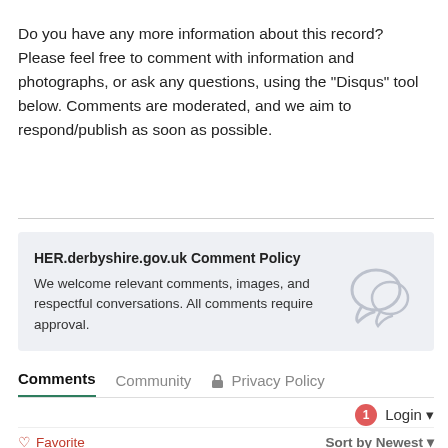Do you have any more information about this record? Please feel free to comment with information and photographs, or ask any questions, using the "Disqus" tool below. Comments are moderated, and we aim to respond/publish as soon as possible.
HER.derbyshire.gov.uk Comment Policy
We welcome relevant comments, images, and respectful conversations. All comments require approval.
Comments   Community   Privacy Policy
1  Login
Favorite   Sort by Newest
Start the discussion...